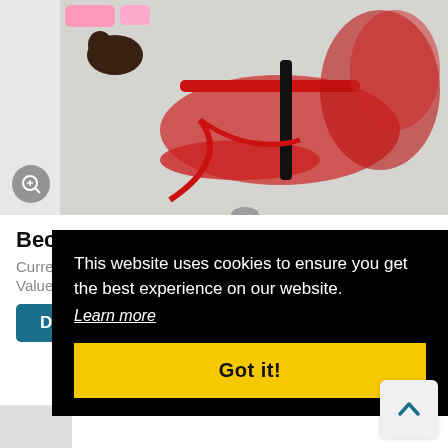[Figure (photo): Product photo showing red dog leash, harness, and accessories laid out on white background, with a small dog visible.]
Because Sit Happens
Current Bid: $45
Value: $85
Details (button)
[Figure (other): Social share icons: Facebook, Twitter, Share]
This website uses cookies to ensure you get the best experience on our website.
Learn more
Got it!